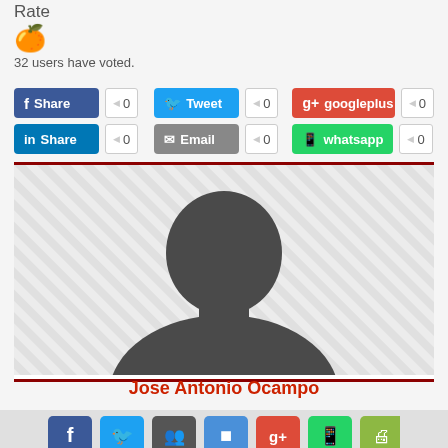Rate
32 users have voted.
[Figure (screenshot): Social share buttons: Facebook Share 0, Tweet 0, googleplus 0, LinkedIn Share 0, Email 0, whatsapp 0]
[Figure (photo): Default user avatar placeholder with diagonal striped background and silhouette of a person]
Jose Antonio Ocampo
[Figure (infographic): Row of social media icon buttons: Facebook, Twitter, group/people, square/Delicious, Google+, WhatsApp, print]